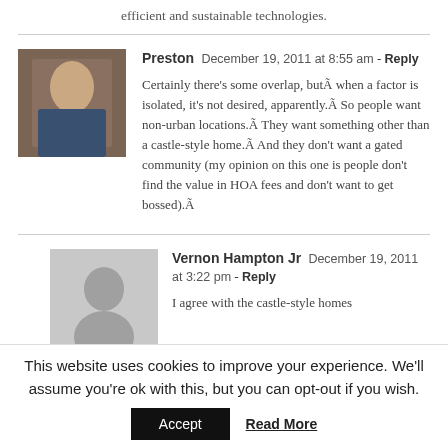efficient and sustainable technologies.
Preston  December 19, 2011 at 8:55 am - Reply

Certainly there's some overlap, butÃ when a factor is isolated, it's not desired, apparently.Ã  So people want non-urban locations.Ã  They want something other than a castle-style home.Ã  And they don't want a gated community (my opinion on this one is people don't find the value in HOA fees and don't want to get bossed).Ã
Vernon Hampton Jr  December 19, 2011 at 3:22 pm - Reply

I agree with the castle-style homes
This website uses cookies to improve your experience. We'll assume you're ok with this, but you can opt-out if you wish.